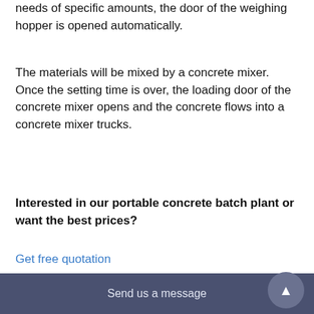needs of specific amounts, the door of the weighing hopper is opened automatically.
The materials will be mixed by a concrete mixer. Once the setting time is over, the loading door of the concrete mixer opens and the concrete flows into a concrete mixer trucks.
Interested in our portable concrete batch plant or want the best prices?
Get free quotation
How to operate concrete batching